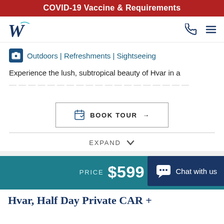COVID-19 Vaccine & Requirements
[Figure (logo): W logo for travel company]
Outdoors | Refreshments | Sightseeing
Experience the lush, subtropical beauty of Hvar in a
BOOK TOUR →
EXPAND
PRICE $599
Hvar, Half Day Private CAR +